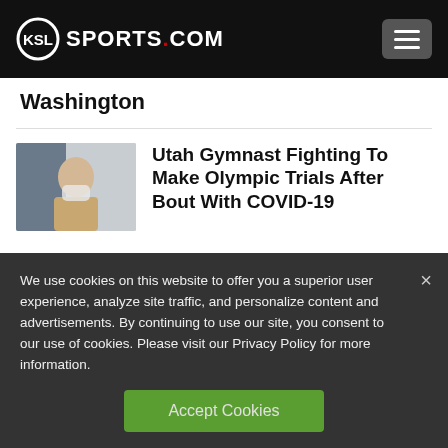KSL SPORTS.COM
Washington
[Figure (photo): Thumbnail photo of a woman wearing a mask against a blue background]
Utah Gymnast Fighting To Make Olympic Trials After Bout With COVID-19
We use cookies on this website to offer you a superior user experience, analyze site traffic, and personalize content and advertisements. By continuing to use our site, you consent to our use of cookies. Please visit our Privacy Policy for more information.
Accept Cookies